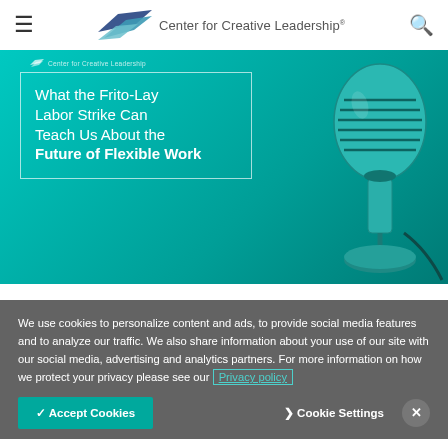Center for Creative Leadership
[Figure (illustration): Teal/turquoise banner image with a vintage microphone on the right side and white-bordered text box on the left. Center for Creative Leadership logo at top. Text reads: 'What the Frito-Lay Labor Strike Can Teach Us About the Future of Flexible Work']
We use cookies to personalize content and ads, to provide social media features and to analyze our traffic. We also share information about your use of our site with our social media, advertising and analytics partners. For more information on how we protect your privacy please see our Privacy policy
✓ Accept Cookies   〉Cookie Settings   ✕